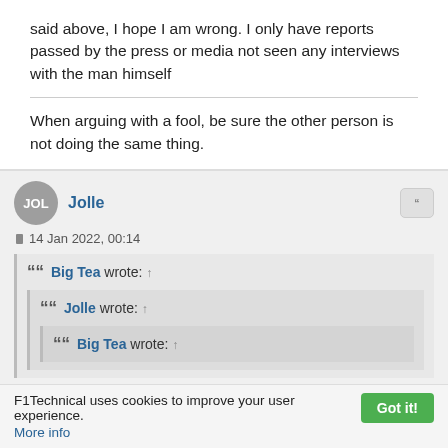said above, I hope I am wrong. I only have reports passed by the press or media not seen any interviews with the man himself
When arguing with a fool, be sure the other person is not doing the same thing.
Jolle
14 Jan 2022, 00:14
““ Big Tea wrote: ↑
““ Jolle wrote: ↑
““ Big Tea wrote: ↑
I get the feeling 'we' as in longer time fans, are
F1Technical uses cookies to improve your user experience.
More info
Got it!